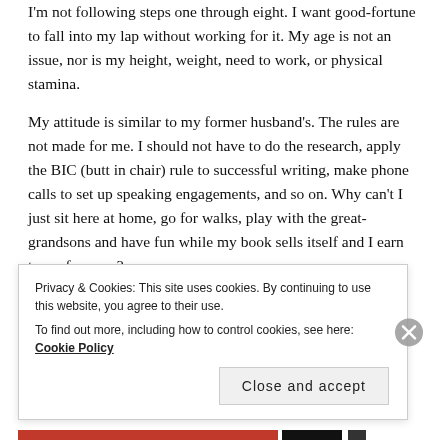I'm not following steps one through eight. I want good-fortune to fall into my lap without working for it. My age is not an issue, nor is my height, weight, need to work, or physical stamina.
My attitude is similar to my former husband's. The rules are not made for me. I should not have to do the research, apply the BIC (butt in chair) rule to successful writing, make phone calls to set up speaking engagements, and so on. Why can't I just sit here at home, go for walks, play with the great-grandsons and have fun while my book sells itself and I earn tons of money?
Privacy & Cookies: This site uses cookies. By continuing to use this website, you agree to their use.
To find out more, including how to control cookies, see here: Cookie Policy